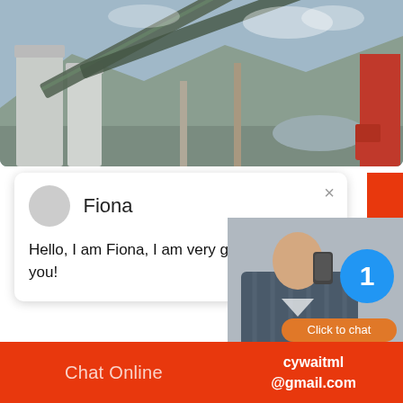[Figure (photo): Industrial crushing/screening plant with conveyor belts, silos, and heavy equipment on a hillside. Red truck visible on right.]
Fiona
Hello, I am Fiona, I am very glad to talk with you!
Buy used mobile crushers for sale on Masco the top UK construction equipment from m brands for sale including used Iveco, Schm
[Figure (photo): Customer service representative on the phone, with blue notification badge showing '1' and orange 'Click to chat' button. Orange 'Enquiry' panel below.]
Chat Online
cywaitml @gmail.com